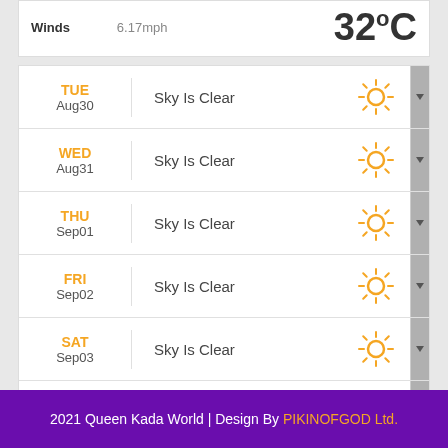| Day | Description | Icon |
| --- | --- | --- |
| TUE Aug30 | Sky Is Clear | sunny |
| WED Aug31 | Sky Is Clear | sunny |
| THU Sep01 | Sky Is Clear | sunny |
| FRI Sep02 | Sky Is Clear | sunny |
| SAT Sep03 | Sky Is Clear | sunny |
| SUN Sep04 | Sky Is Clear | sunny |
2021 Queen Kada World | Design By PIKINOFGOD Ltd.